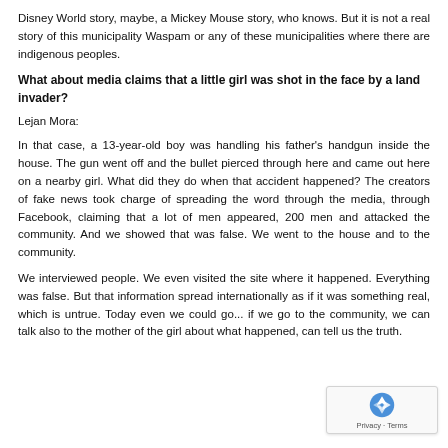Disney World story, maybe, a Mickey Mouse story, who knows. But it is not a real story of this municipality Waspam or any of these municipalities where there are indigenous peoples.
What about media claims that a little girl was shot in the face by a land invader?
Lejan Mora:
In that case, a 13-year-old boy was handling his father's handgun inside the house. The gun went off and the bullet pierced through here and came out here on a nearby girl. What did they do when that accident happened? The creators of fake news took charge of spreading the word through the media, through Facebook, claiming that a lot of men appeared, 200 men and attacked the community. And we showed that was false. We went to the house and to the community.
We interviewed people. We even visited the site where it happened. Everything was false. But that information spread internationally as if it was something real, which is untrue. Today even we could go... if we go to the community, we can talk also to the mother of the girl about what happened, can tell us the truth.